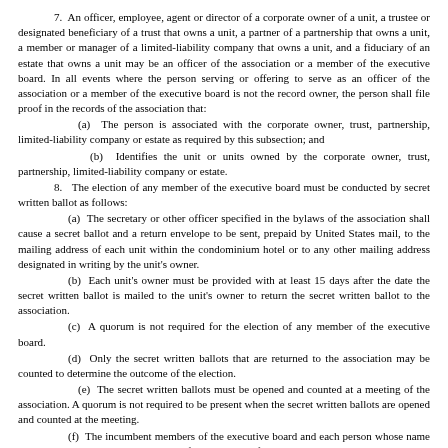7. An officer, employee, agent or director of a corporate owner of a unit, a trustee or designated beneficiary of a trust that owns a unit, a partner of a partnership that owns a unit, a member or manager of a limited-liability company that owns a unit, and a fiduciary of an estate that owns a unit may be an officer of the association or a member of the executive board. In all events where the person serving or offering to serve as an officer of the association or a member of the executive board is not the record owner, the person shall file proof in the records of the association that:
(a) The person is associated with the corporate owner, trust, partnership, limited-liability company or estate as required by this subsection; and
(b) Identifies the unit or units owned by the corporate owner, trust, partnership, limited-liability company or estate.
8. The election of any member of the executive board must be conducted by secret written ballot as follows:
(a) The secretary or other officer specified in the bylaws of the association shall cause a secret ballot and a return envelope to be sent, prepaid by United States mail, to the mailing address of each unit within the condominium hotel or to any other mailing address designated in writing by the unit's owner.
(b) Each unit's owner must be provided with at least 15 days after the date the secret written ballot is mailed to the unit's owner to return the secret written ballot to the association.
(c) A quorum is not required for the election of any member of the executive board.
(d) Only the secret written ballots that are returned to the association may be counted to determine the outcome of the election.
(e) The secret written ballots must be opened and counted at a meeting of the association. A quorum is not required to be present when the secret written ballots are opened and counted at the meeting.
(f) The incumbent members of the executive board and each person whose name is placed on the ballot as a candidate for a member of the executive board may not possess, be given access to or participate in the opening or counting of the secret written ballots that are returned to the association before those secret written ballots have been opened and counted at a meeting of the association.
9. Each member of the executive board shall, within 90 days after his or